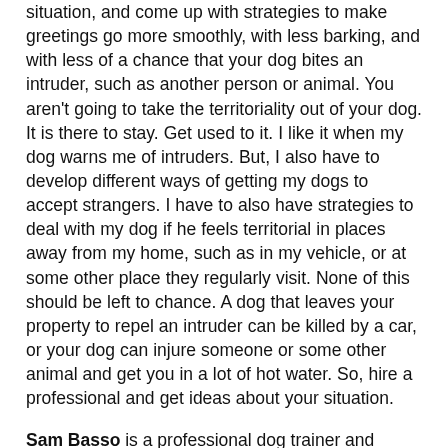situation, and come up with strategies to make greetings go more smoothly, with less barking, and with less of a chance that your dog bites an intruder, such as another person or animal. You aren't going to take the territoriality out of your dog. It is there to stay. Get used to it. I like it when my dog warns me of intruders. But, I also have to develop different ways of getting my dogs to accept strangers. I have to also have strategies to deal with my dog if he feels territorial in places away from my home, such as in my vehicle, or at some other place they regularly visit. None of this should be left to chance. A dog that leaves your property to repel an intruder can be killed by a car, or your dog can injure someone or some other animal and get you in a lot of hot water. So, hire a professional and get ideas about your situation.
Sam Basso is a professional dog trainer and behaviorist in the Phoenix/Scottsdale metropolitan